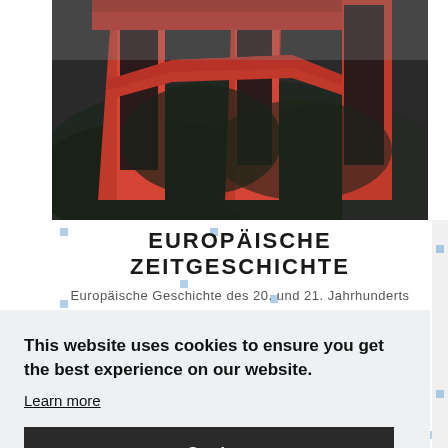[Figure (photo): Architectural photo of a red/orange modern building structure with geometric beams and dark foliage in the background, black and white style with red color accent]
EUROPÄISCHE ZEITGESCHICHTE
Europäische Geschichte des 20. und 21. Jahrhunderts
This website uses cookies to ensure you get the best experience on our website.
Learn more
Got it
auf